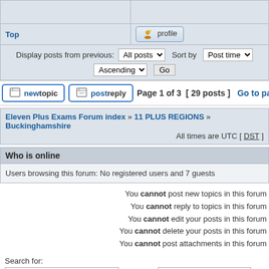|  |  |
| --- | --- |
| Top | [profile button] |
Display posts from previous: All posts  Sort by  Post time
Ascending  Go
new topic   post reply   Page 1 of 3  [ 29 posts ]  Go to page 1, 2, ...
Eleven Plus Exams Forum index » 11 PLUS REGIONS » Buckinghamshire
All times are UTC [ DST ]
Who is online
Users browsing this forum: No registered users and 7 guests
You cannot post new topics in this forum
You cannot reply to topics in this forum
You cannot edit your posts in this forum
You cannot delete your posts in this forum
You cannot post attachments in this forum
Search for:
Jump to: Buckinghamshire
Go
Privacy Policy | Refund Policy | Disclaimer | Copyright © 2004 – 2022